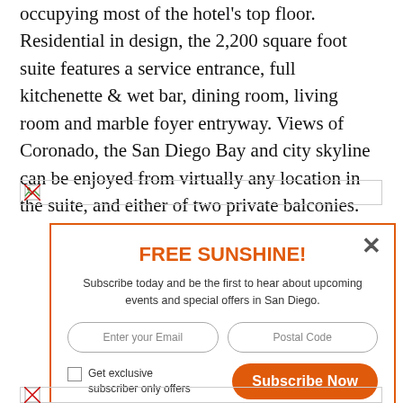occupying most of the hotel's top floor. Residential in design, the 2,200 square foot suite features a service entrance, full kitchenette & wet bar, dining room, living room and marble foyer entryway. Views of Coronado, the San Diego Bay and city skyline can be enjoyed from virtually any location in the suite, and either of two private balconies.
[Figure (other): Broken image placeholder (thin horizontal bar with broken image icon)]
[Figure (screenshot): Popup overlay with orange border titled FREE SUNSHINE! with email subscription form, fields for email and postal code, a checkbox for exclusive subscriber only offers, and a Subscribe Now button]
[Figure (other): Broken image placeholder at bottom of page]